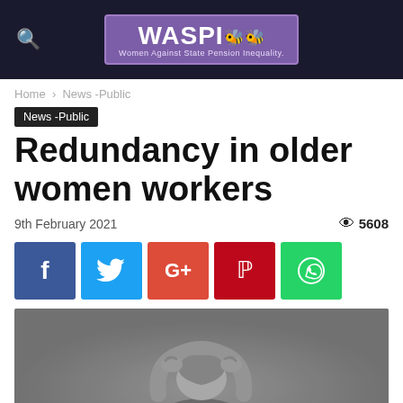WASPI — Women Against State Pension Inequality
Home › News -Public
News -Public
Redundancy in older women workers
9th February 2021   👁 5608
[Figure (infographic): Social sharing buttons: Facebook, Twitter, Google+, Pinterest, WhatsApp]
[Figure (photo): Black and white photo of a woman with head bowed and hands clasped behind her head, suggesting distress or grief.]